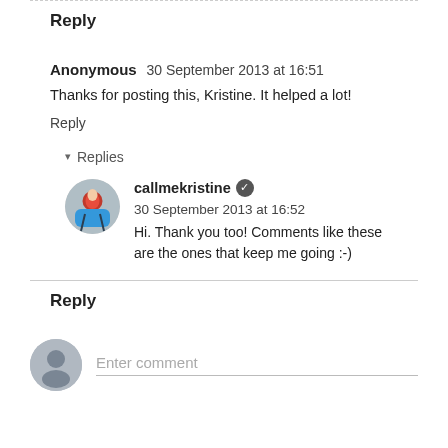Reply
Anonymous  30 September 2013 at 16:51
Thanks for posting this, Kristine. It helped a lot!
Reply
Replies
[Figure (photo): Profile photo of callmekristine, a person in red clothing]
callmekristine ✓ 30 September 2013 at 16:52
Hi. Thank you too! Comments like these are the ones that keep me going :-)
Reply
Enter comment